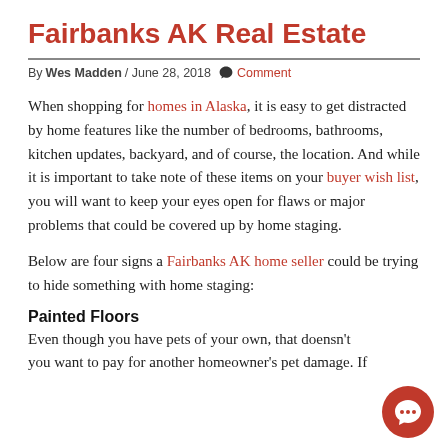Fairbanks AK Real Estate
By Wes Madden / June 28, 2018  Comment
When shopping for homes in Alaska, it is easy to get distracted by home features like the number of bedrooms, bathrooms, kitchen updates, backyard, and of course, the location. And while it is important to take note of these items on your buyer wish list, you will want to keep your eyes open for flaws or major problems that could be covered up by home staging.
Below are four signs a Fairbanks AK home seller could be trying to hide something with home staging:
Painted Floors
Even though you have pets of your own, that doensn't mean you want to pay for another homeowner's pet damage. If